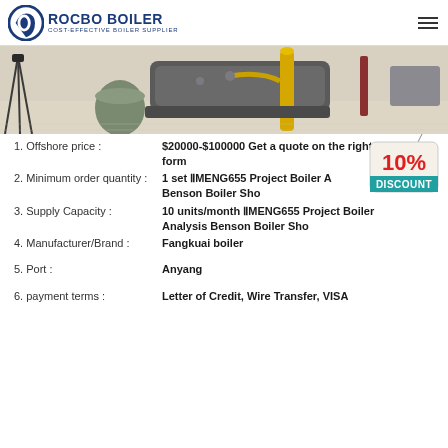[Figure (logo): Rocbo Boiler logo with circular icon and text 'ROCBO BOILER COST-EFFECTIVE BOILER SUPPLIER']
[Figure (photo): Industrial boiler equipment in a factory/showroom setting with yellow pipe, green drum, and machinery]
1. Offshore price : $20000-$100000 Get a quote on the right form
2. Minimum order quantity : 1 set ⅡMENG655 Project Boiler Analysis Benson Boiler Sho
3. Supply Capacity : 10 units/month ⅡMENG655 Project Boiler Analysis Benson Boiler Sho
4. Manufacturer/Brand : Fangkuai boiler
5. Port : Anyang
6. payment terms : Letter of Credit, Wire Transfer, VISA